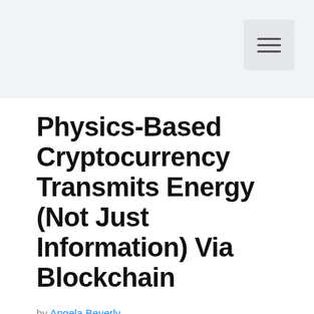Physics-Based Cryptocurrency Transmits Energy (Not Just Information) Via Blockchain
by Angela Beverly
[Figure (infographic): Social share buttons: Twitter, Facebook, LinkedIn, Pinterest]